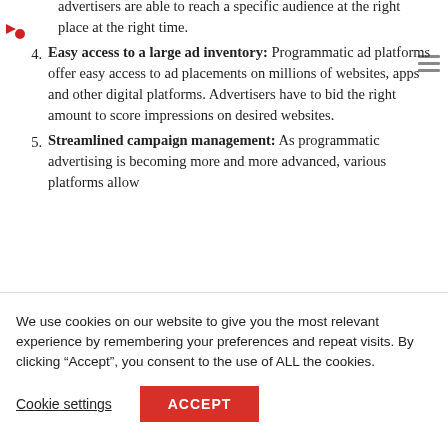advertisers are able to reach a specific audience at the right place at the right time.
Easy access to a large ad inventory: Programmatic ad platforms offer easy access to ad placements on millions of websites, apps and other digital platforms. Advertisers have to bid the right amount to score impressions on desired websites.
Streamlined campaign management: As programmatic advertising is becoming more and more advanced, various platforms allow
We use cookies on our website to give you the most relevant experience by remembering your preferences and repeat visits. By clicking “Accept”, you consent to the use of ALL the cookies.
Cookie settings | ACCEPT